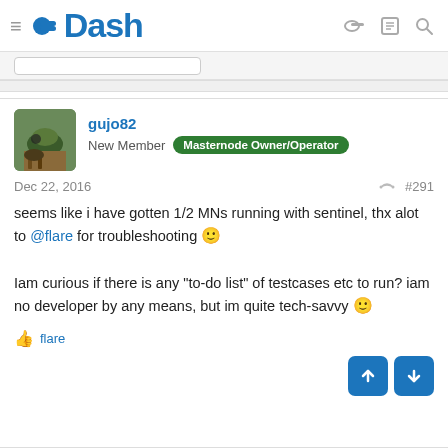Dash
gujo82
New Member  Masternode Owner/Operator
Dec 22, 2016  #291
seems like i have gotten 1/2 MNs running with sentinel, thx alot to @flare for troubleshooting 🙂

Iam curious if there is any "to-do list" of testcases etc to run? iam no developer by any means, but im quite tech-savvy 🙂
flare